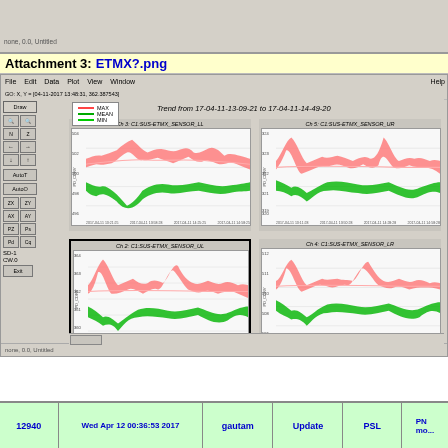[Figure (screenshot): Top gray strip area of application window, partially visible]
Attachment 3: ETMX?.png
[Figure (screenshot): LIGO data viewer application showing 4 time-series trend plots for C1:SUS-ETMX sensor channels (LL, UR, UL, LR). Each plot shows MAX (red), MEAN (pink/white), MIN (green) trend lines from 17-04-11-13-09-21 to 17-04-11-14-49-20. Y-axes show PD_CDRV values. Toolbar on left with Draw, zoom, pan controls.]
12940 | Wed Apr 12 00:36:53 2017 | gautam | Update | PSL | mo...